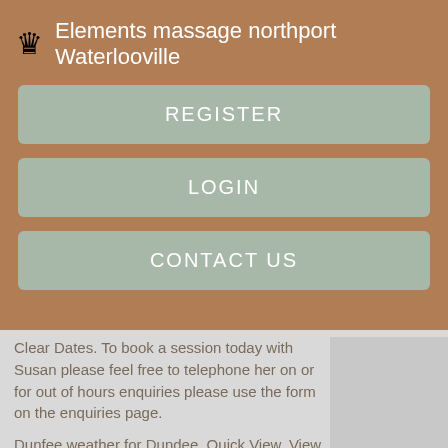♛ Elements massage northport Waterlooville
REGISTER
LOGIN
CONTACT US
Clear Dates. To book a session today with Susan please feel free to telephone her on or for out of hours enquiries please use the form on the enquiries page.
Dunfee weather for Dundee. Quick View. View Map. Email or Phone. Ask Rhonda M about Massaage Sne. She is passionate about